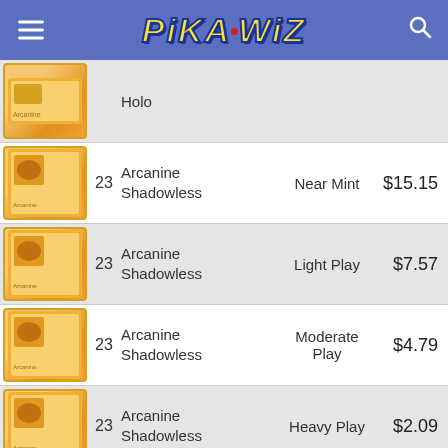PikaWiz
| # | Card | Condition | Price |
| --- | --- | --- | --- |
|  | Holo |  |  |
| 23 | Arcanine Shadowless | Near Mint | $15.15 |
| 23 | Arcanine Shadowless | Light Play | $7.57 |
| 23 | Arcanine Shadowless | Moderate Play | $4.79 |
| 23 | Arcanine Shadowless | Heavy Play | $2.09 |
| 23 | Arcanine Shadowless | Damaged | $1.72 |
| 2 | Arcanine Shadowless |  |  |
[Figure (screenshot): Advertisement banner: Back To School Shopping Deals - Leesburg Premium Outlets]